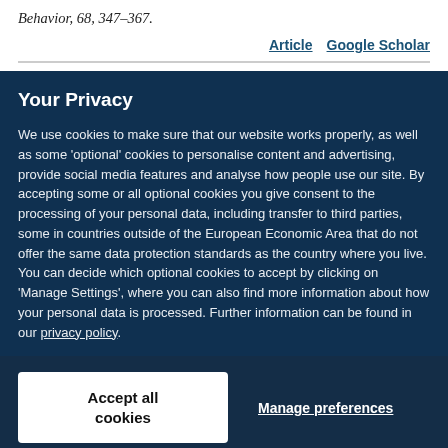Behavior, 68, 347–367.
Article   Google Scholar
Your Privacy
We use cookies to make sure that our website works properly, as well as some 'optional' cookies to personalise content and advertising, provide social media features and analyse how people use our site. By accepting some or all optional cookies you give consent to the processing of your personal data, including transfer to third parties, some in countries outside of the European Economic Area that do not offer the same data protection standards as the country where you live. You can decide which optional cookies to accept by clicking on 'Manage Settings', where you can also find more information about how your personal data is processed. Further information can be found in our privacy policy.
Accept all cookies
Manage preferences